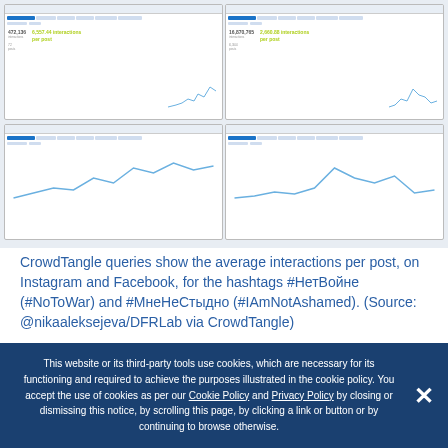[Figure (screenshot): Two CrowdTangle dashboard screenshots side by side (top row and bottom row), showing analytics for hashtags #НетВойне and #МнеНеСтыдно with interaction graphs and statistics.]
CrowdTangle queries show the average interactions per post, on Instagram and Facebook, for the hashtags #НетВойне (#NoToWar) and #МнеНеСтыдно (#IAmNotAshamed). (Source: @nikaaleksejeva/DFRLab via CrowdTangle)
—Nika Aleksejeva, Lead Researcher, Riga, Latvia
This website or its third-party tools use cookies, which are necessary for its functioning and required to achieve the purposes illustrated in the cookie policy. You accept the use of cookies as per our Cookie Policy and Privacy Policy by closing or dismissing this notice, by scrolling this page, by clicking a link or button or by continuing to browse otherwise.